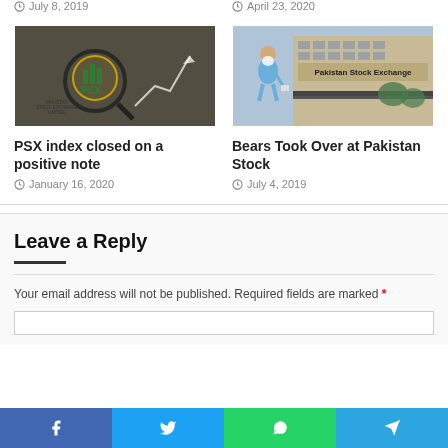July 8, 2019
April 23, 2020
[Figure (photo): PSX Pakistan Stock Exchange Limited logo with magnifying glass on financial paper with upward arrow chart]
[Figure (photo): Man walking in front of Pakistan Stock Exchange building exterior]
PSX index closed on a positive note
January 16, 2020
Bears Took Over at Pakistan Stock
July 4, 2019
Leave a Reply
Your email address will not be published. Required fields are marked *